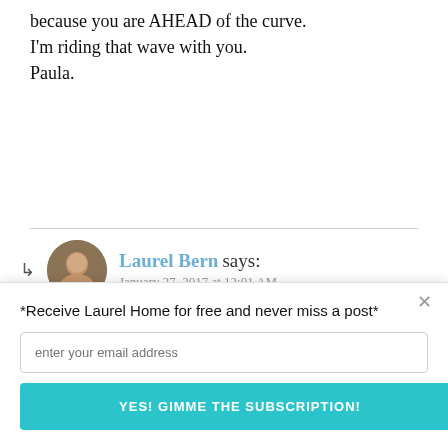because you are AHEAD of the curve. I'm riding that wave with you. Paula.
Laurel Bern says: January 27, 2017 at 12:01 AM
Hi Paula,
YES! That's the [POWERED BY SUMO] nk it applies to all
*Receive Laurel Home for free and never miss a post*
enter your email address
YES! GIMME THE SUBSCRIPTION!